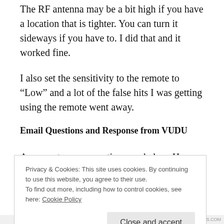The RF antenna may be a bit high if you have a location that is tighter. You can turn it sideways if you have to. I did that and it worked fine.
I also set the sensitivity to the remote to “Low” and a lot of the false hits I was getting using the remote went away.
Email Questions and Response from VUDU
Answers to your questions are below. Have a good
Privacy & Cookies: This site uses cookies. By continuing to use this website, you agree to their use.
To find out more, including how to control cookies, see here: Cookie Policy
Close and accept